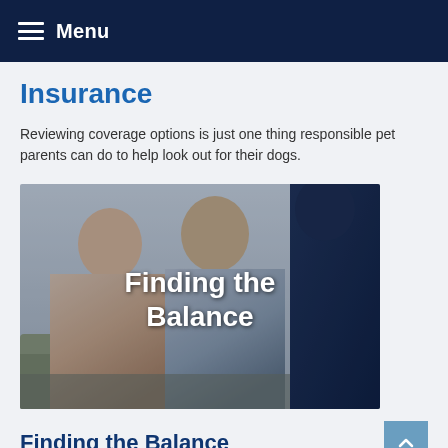Menu
Insurance
Reviewing coverage options is just one thing responsible pet parents can do to help look out for their dogs.
[Figure (photo): Two people smiling and shaking hands with a third person, appearing to be in a meeting or consultation setting. Overlaid white bold text reads 'Finding the Balance'.]
Finding the Balance